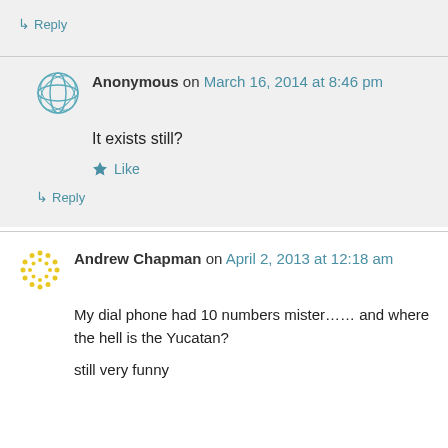↳ Reply
Anonymous on March 16, 2014 at 8:46 pm
It exists still?
Like
↳ Reply
Andrew Chapman on April 2, 2013 at 12:18 am
My dial phone had 10 numbers mister…… and where the hell is the Yucatan?
still very funny